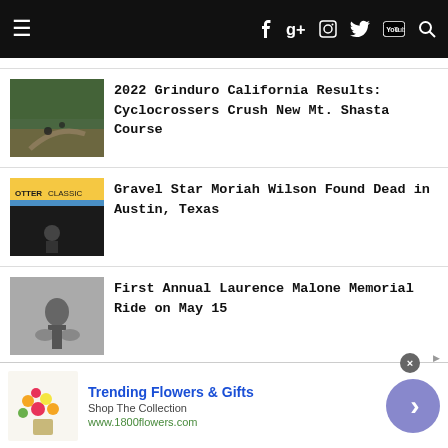Navigation bar with hamburger menu, Facebook, Google+, Instagram, Twitter, YouTube, Search icons
[Figure (photo): Cyclists riding on a dirt mountain trail through forest]
2022 Grinduro California Results: Cyclocrossers Crush New Mt. Shasta Course
[Figure (photo): Cyclist at a race event under a banner reading Otter Classic]
Gravel Star Moriah Wilson Found Dead in Austin, Texas
[Figure (photo): Black and white photo of a cyclist riding]
First Annual Laurence Malone Memorial Ride on May 15
Trending Flowers & Gifts — Shop The Collection — www.1800flowers.com